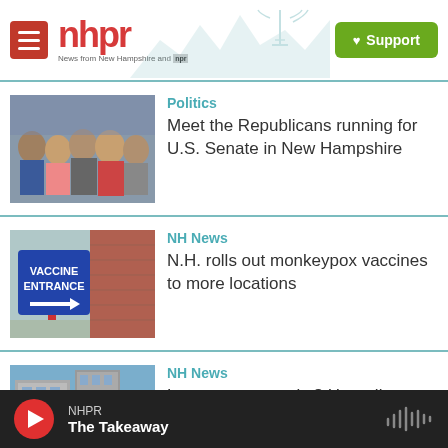nhpr - News from New Hampshire and NPR | Support
Politics
Meet the Republicans running for U.S. Senate in New Hampshire
NH News
N.H. rolls out monkeypox vaccines to more locations
NH News
Luxury or necessity? How climate
NHPR The Takeaway